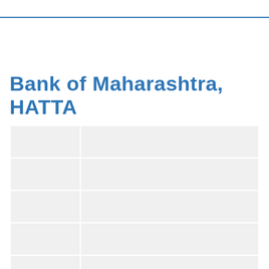Bank of Maharashtra, HATTA
|  |  |
|  |  |
|  |  |
|  |  |
|  |  |
|  |  |